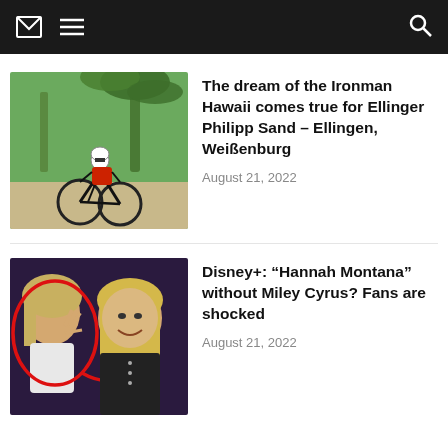Navigation bar with mail, menu, and search icons
[Figure (photo): Cyclist in red and black outfit wearing white helmet riding a road bike in a tropical setting with palm trees in the background]
The dream of the Ironman Hawaii comes true for Ellinger Philipp Sand – Ellingen, Weißenburg
August 21, 2022
[Figure (photo): Two women on stage, one with blonde hair making a peace sign on the left circled in red with an arrow, and a longer-haired blonde woman smiling on the right — Hannah Montana themed photo]
Disney+: “Hannah Montana” without Miley Cyrus? Fans are shocked
August 21, 2022